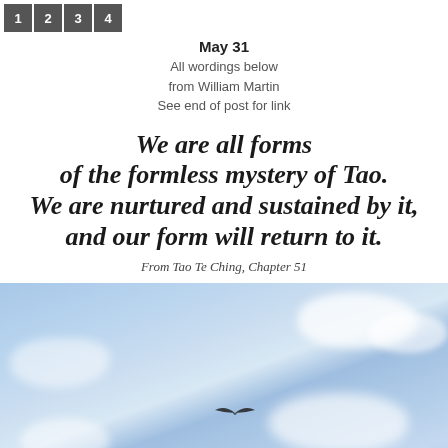1 2 3 4
May 31
All wordings below
from William Martin
See end of post for link
We are all forms of the formless mystery of Tao. We are nurtured and sustained by it, and our form will return to it.
From Tao Te Ching, Chapter 51
[Figure (photo): A seagull in flight against a blue and white cloudy sky]